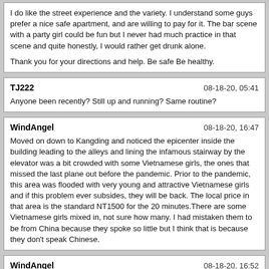I do like the street experience and the variety. I understand some guys prefer a nice safe apartment, and are willing to pay for it. The bar scene with a party girl could be fun but I never had much practice in that scene and quite honestly, I would rather get drunk alone.

Thank you for your directions and help. Be safe Be healthy.
TJ222 | 08-18-20, 05:41
Anyone been recently? Still up and running? Same routine?
WindAngel | 08-18-20, 16:47
Moved on down to Kangding and noticed the epicenter inside the building leading to the alleys and lining the infamous stairway by the elevator was a bit crowded with some Vietnamese girls, the ones that missed the last plane out before the pandemic. Prior to the pandemic, this area was flooded with very young and attractive Vietnamese girls and if this problem ever subsides, they will be back. The local price in that area is the standard NT1500 for the 20 minutes.There are some Vietnamese girls mixed in, not sure how many. I had mistaken them to be from China because they spoke so little but I think that is because they don't speak Chinese.
WindAngel | 08-18-20, 16:52
I will PM you after I visit. You have 3 more posts to go.I went. The look is subpar. I won't pick any of these girls if I were in Bangkok. They have been in this environment too long and learn some bad habits. It's not expensive. I spent about 4500 for less than 2 hours. Not all girls will go with customers.
AsiaFever | 08-19-20, 01:30
Moved on down to Kangding and noticed the epicenter inside the building